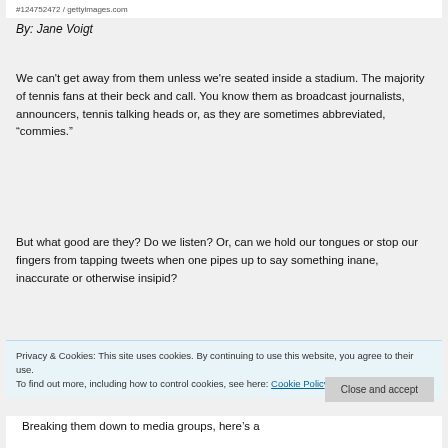#124752472 / gettyimages.com
By: Jane Voigt
We can't get away from them unless we're seated inside a stadium. The majority of tennis fans at their beck and call. You know them as broadcast journalists, announcers, tennis talking heads or, as they are sometimes abbreviated, “commies.”
But what good are they? Do we listen? Or, can we hold our tongues or stop our fingers from tapping tweets when one pipes up to say something inane, inaccurate or otherwise insipid?
Privacy & Cookies: This site uses cookies. By continuing to use this website, you agree to their use.
To find out more, including how to control cookies, see here: Cookie Policy
Close and accept
Breaking them down to media groups, here’s a